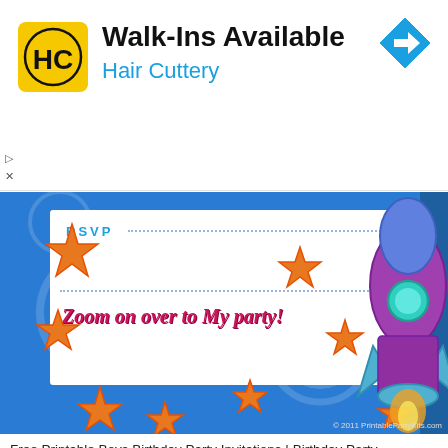[Figure (screenshot): Hair Cuttery advertisement banner with yellow HC logo, text 'Walk-Ins Available' in bold black and 'Hair Cuttery' in blue, and a blue diamond navigation arrow icon on the right.]
[Figure (illustration): Free printable boys birthday party invitation with blue space background, orange stars, a colorful rocket ship, white card area with 'RSVP' dotted line and text 'Zoom on over to my party!' in pink/magenta italic font. Copyright 2011 PrintablePartyKits.com]
Free Printable Boys Birthday Party Invitations | Birthday Party - Make A Birthday Invitation Online Free Printable, Source Image i.pinimg.com